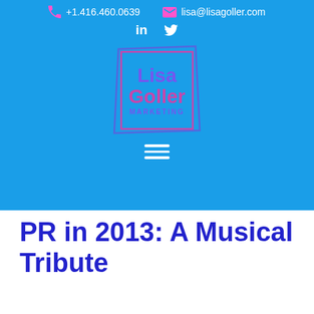+1.416.460.0639  lisa@lisagoller.com
[Figure (logo): Lisa Goller Marketing logo: a square border with stylized text 'Lisa Goller MARKETING' in purple and pink on a blue background]
PR in 2013: A Musical Tribute